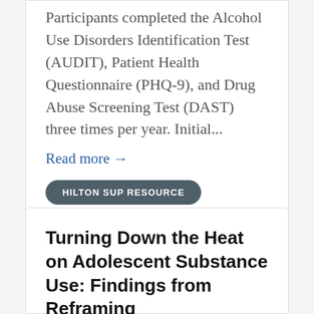Participants completed the Alcohol Use Disorders Identification Test (AUDIT), Patient Health Questionnaire (PHQ-9), and Drug Abuse Screening Test (DAST) three times per year. Initial...
Read more →
HILTON SUP RESOURCE
Turning Down the Heat on Adolescent Substance Use: Findings from Reframing